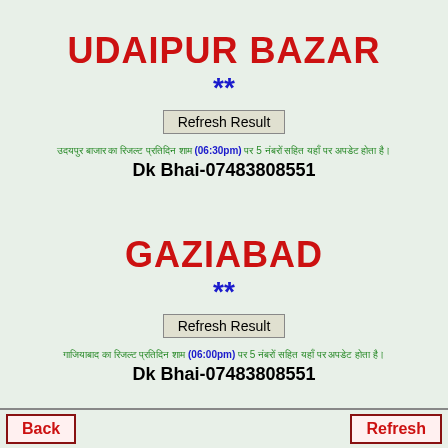UDAIPUR BAZAR
**
Refresh Result
उदयपुर बाजार का रिजल्ट प्रतिदिन शाम (06:30pm) पर 5 नंबरों सहित यहाँ पर अपडेट होता है।
Dk Bhai-07483808551
GAZIABAD
**
Refresh Result
गाजियाबाद का रिजल्ट प्रतिदिन शाम (06:00pm) पर 5 नंबरों सहित यहाँ पर अपडेट होता है।
Dk Bhai-07483808551
Back    Refresh